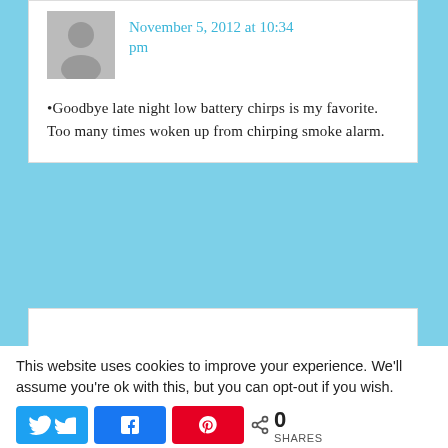November 5, 2012 at 10:34 pm
Goodbye late night low battery chirps is my favorite. Too many times woken up from chirping smoke alarm.
This website uses cookies to improve your experience. We'll assume you're ok with this, but you can opt-out if you wish.